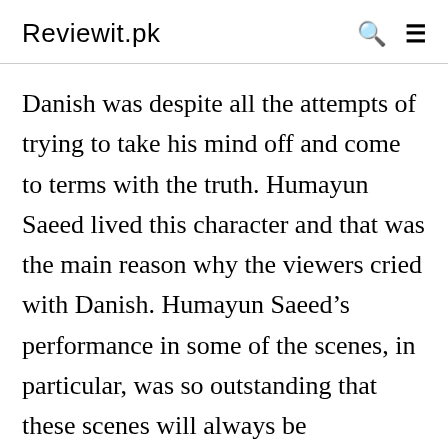Reviewit.pk
Danish was despite all the attempts of trying to take his mind off and come to terms with the truth. Humayun Saeed lived this character and that was the main reason why the viewers cried with Danish. Humayun Saeed’s performance in some of the scenes, in particular, was so outstanding that these scenes will always be remembered. He has a definite screen presence which he puts to good use by choosing the right projects.